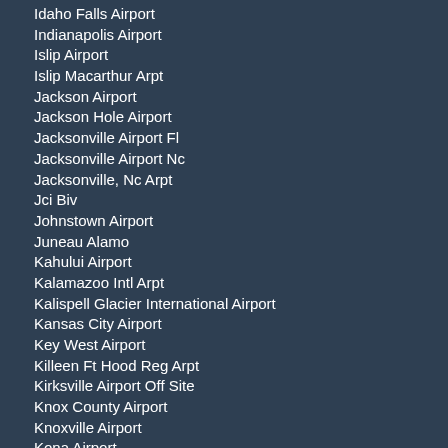Idaho Falls Airport
Indianapolis Airport
Islip Airport
Islip Macarthur Arpt
Jackson Airport
Jackson Hole Airport
Jacksonville Airport Fl
Jacksonville Airport Nc
Jacksonville, Nc Arpt
Jci Biv
Johnstown Airport
Juneau Alamo
Kahului Airport
Kalamazoo Intl Arpt
Kalispell Glacier International Airport
Kansas City Airport
Key West Airport
Killeen Ft Hood Reg Arpt
Kirksville Airport Off Site
Knox County Airport
Knoxville Airport
Kona Airport
La Crosse Ap In Terminal